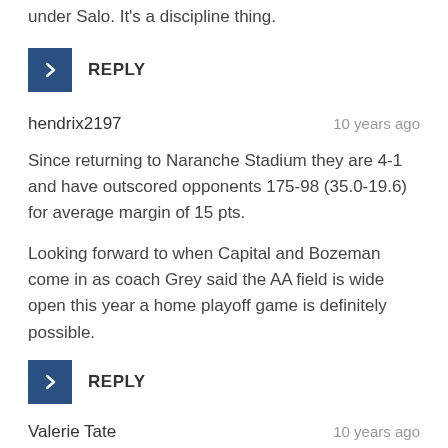under Salo. It's a discipline thing.
REPLY
hendrix2197
10 years ago
Since returning to Naranche Stadium they are 4-1 and have outscored opponents 175-98 (35.0-19.6) for average margin of 15 pts.
Looking forward to when Capital and Bozeman come in as coach Grey said the AA field is wide open this year a home playoff game is definitely possible.
REPLY
Valerie Tate
10 years ago